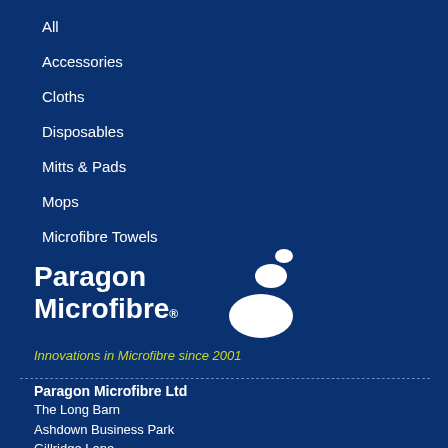All
Accessories
Cloths
Disposables
Mitts & Pads
Mops
Microfibre Towels
[Figure (logo): Paragon Microfibre logo with white text and white oval bubble shapes]
Innovations in Microfibre since 2001
Paragon Microfibre Ltd
The Long Barn
Ashdown Business Park
Gillridge Lane